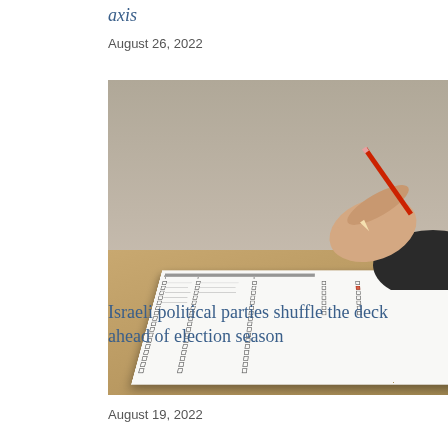axis
August 26, 2022
[Figure (photo): A hand holding a red pencil marking a ballot paper with many checkboxes and candidate names, open on a flat surface.]
Israeli political parties shuffle the deck ahead of election season
August 19, 2022